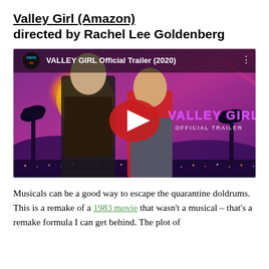Valley Girl (Amazon) directed by Rachel Lee Goldenberg
[Figure (screenshot): YouTube video thumbnail for 'VALLEY GIRL Official Trailer (2020)' showing two young people standing against a purple/pink 80s-style background with a yellow sun, palm trees, and city lights. A red YouTube play button is centered. Text reads 'VALLEY GIRL OFFICIAL TRAILER'. Orion Pictures logo in top left.]
Musicals can be a good way to escape the quarantine doldrums. This is a remake of a 1983 movie that wasn't a musical – that's a remake formula I can get behind. The plot of